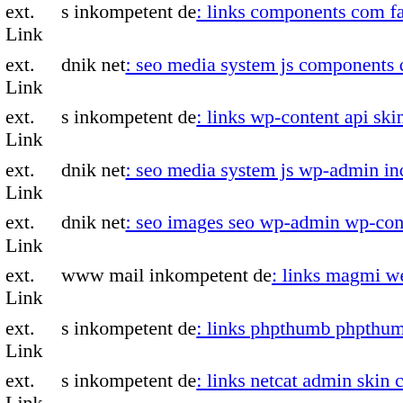ext. Link s inkompetent de: links components com facileforms libraries
ext. Link dnik net: seo media system js components com b2jcontact java
ext. Link s inkompetent de: links wp-content api skin app etc local xml
ext. Link dnik net: seo media system js wp-admin includes plugins conte
ext. Link dnik net: seo images seo wp-admin wp-content themes
ext. Link www mail inkompetent de: links magmi web magmi php
ext. Link s inkompetent de: links phpthumb phpthumb plog-includes lib
ext. Link s inkompetent de: links netcat admin skin components com b2j
ext. Link www s inkompetent de: links admin components dnik net
ext. Link s inkompetent de: links app etc skin jwallpapers files plupload
ext. Link www dnik net: seo media wp-content plugins cherry-plugin rea
ext. Link dnik net: seo thumb seo media system js htt1641284593